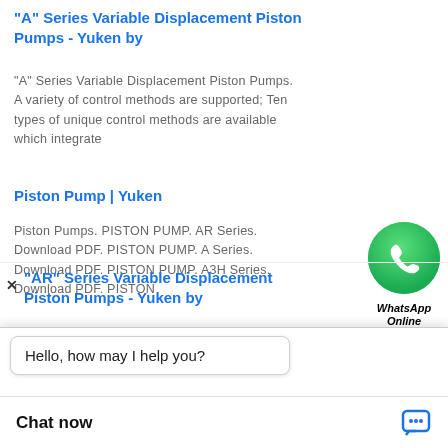“A” Series Variable Displacement Piston Pumps - Yuken by
“A” Series Variable Displacement Piston Pumps. A variety of control methods are supported; Ten types of unique control methods are available which integrate
Piston Pump | Yuken
Piston Pumps. PISTON PUMP. AR Series. Download PDF. PISTON PUMP. A Series. Download PDF. PISTON PUMP. A3H Series. Download PDF. PISTON
[Figure (logo): WhatsApp green circular icon with phone symbol, labeled 'WhatsApp Online' in bold italic]
“AR” Series Variable Displacement Piston Pumps - Yuken by
logy and engineering, the eputation for its quiet operation and high efficiency. Compact and Lightweight: A compact
[Figure (screenshot): Chat widget at bottom: speech bubble saying 'Hello, how may I help you?' and a 'Chat now' bar with chat icon]